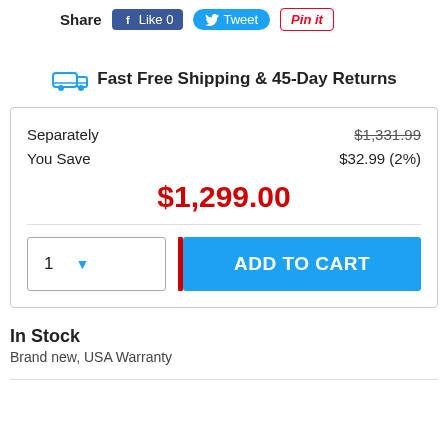Share   Like 0   Tweet   Pin it
Fast Free Shipping & 45-Day Returns
|  |  |
| --- | --- |
| Separately | $1,331.99 |
| You Save | $32.99 (2%) |
| $1,299.00 |  |
| 1 ▾ | ADD TO CART |
In Stock
Brand new, USA Warranty